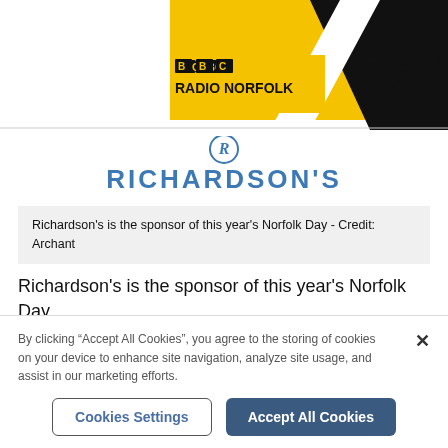[Figure (logo): BBC Radio Norfolk logo with Norfolk Day branding — yellow and black diagonal design with 'BBC RADIO NORFOLK' text and 'Day' text visible]
[Figure (logo): Richardson's logo — stylized R monogram above RICHARDSON'S text in blue]
Richardson's is the sponsor of this year's Norfolk Day - Credit: Archant
Richardson's is the sponsor of this year's Norfolk Day.
If you are organising something for Norfolk Day, no matter how big or small, then please tell us
By clicking “Accept All Cookies”, you agree to the storing of cookies on your device to enhance site navigation, analyze site usage, and assist in our marketing efforts.
Cookies Settings
Accept All Cookies